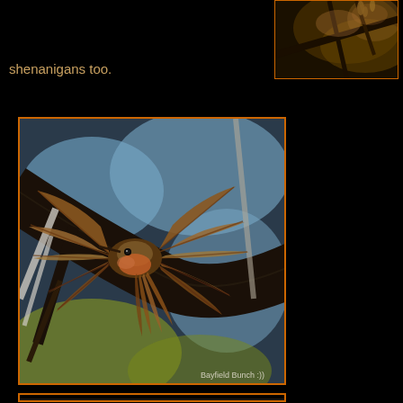[Figure (photo): Partial view of warm-toned branches with bokeh, top-right corner photo with orange border frame]
shenanigans too.
[Figure (photo): Hummingbird with wings spread wide, perched on a dark tree branch against blue sky and blurred foliage background. Watermark reads 'Bayfield Bunch :))']
[Figure (photo): Partial bottom photo frame partially visible at bottom of page]